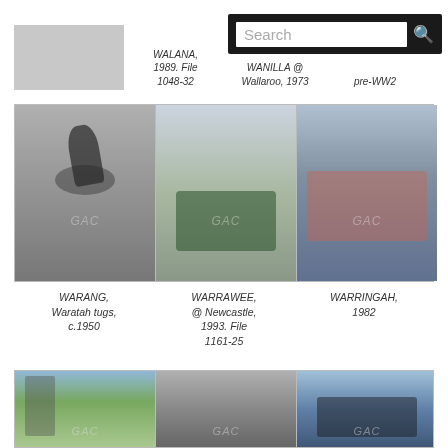WALANA, 1989. File 1048-32
WANILLA @ Wallaroo, 1973
pre-WW2
[Figure (photo): Three ship photos in a row: WARANG tug with black smoke (Waratah tugs, c.1950), WARRAWEE at Newcastle 1993, and WARRINGAH 1982]
WARANG, Waratah tugs, c.1950
WARRAWEE, @ Newcastle, 1993. File 1161-25
WARRINGAH, 1982
[Figure (photo): Three ship photos in a row at bottom of page, partially visible]